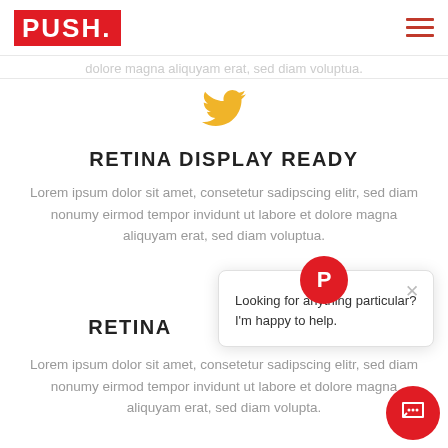[Figure (logo): PUSH. logo in red rectangle, top left navigation bar with hamburger menu icon]
dolore magna aliquyam erat, sed diam voluptua.
[Figure (illustration): Yellow Twitter bird icon]
RETINA DISPLAY READY
Lorem ipsum dolor sit amet, consetetur sadipscing elitr, sed diam nonumy eirmod tempor invidunt ut labore et dolore magna aliquyam erat, sed diam voluptua.
RETINA
Lorem ipsum dolor sit amet, consetetur sadipscing elitr, sed diam nonumy eirmod tempor invidunt ut labore et dolore magna aliquyam erat, sed diam volupta.
Looking for anything particular? I'm happy to help.